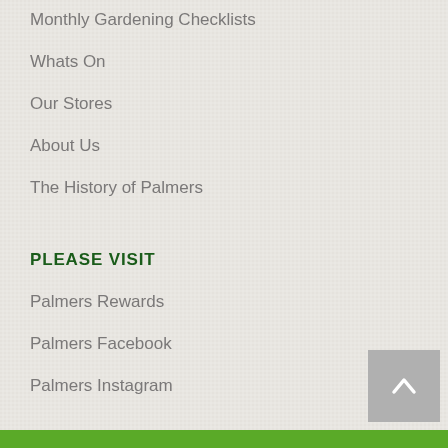Monthly Gardening Checklists
Whats On
Our Stores
About Us
The History of Palmers
PLEASE VISIT
Palmers Rewards
Palmers Facebook
Palmers Instagram